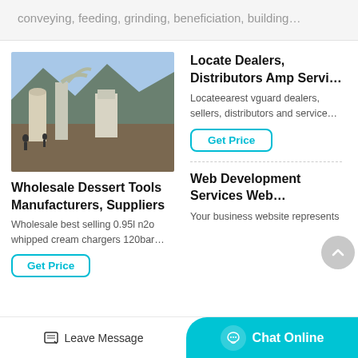conveying, feeding, grinding, beneficiation, building…
[Figure (photo): Industrial grinding/milling machines outdoors with silos and dust collectors against a mountainous background]
Wholesale Dessert Tools Manufacturers, Suppliers
Wholesale best selling 0.95l n2o whipped cream chargers 120bar…
Get Price
Locate Dealers, Distributors Amp Servi…
Locateearest vguard dealers, sellers, distributors and service…
Get Price
Web Development Services Web…
Your business website represents
Leave Message  Chat Online